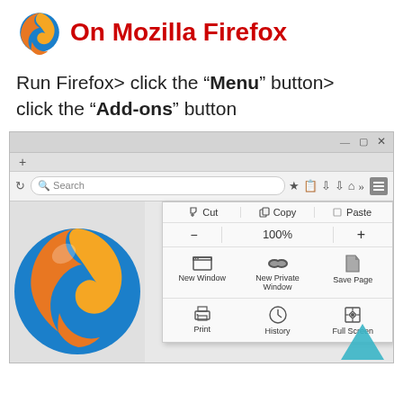On Mozilla Firefox
Run Firefox> click the “Menu” button> click the “Add-ons” button
[Figure (screenshot): Firefox browser window showing the hamburger menu open with Cut/Copy/Paste, zoom controls (100%), New Window, New Private Window, Save Page, Print, History, and Full Screen options visible.]